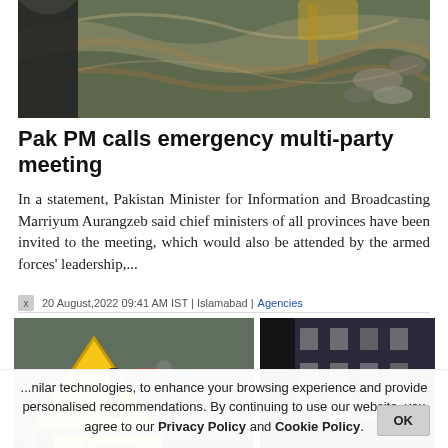[Figure (photo): Aerial or close-up view of flood water flowing through a damaged road or construction site, with muddy brown water, rocks, and debris visible.]
Pak PM calls emergency multi-party meeting
In a statement, Pakistan Minister for Information and Broadcasting Marriyum Aurangzeb said chief ministers of all provinces have been invited to the meeting, which would also be attended by the armed forces' leadership,...
20 August,2022 09:41 AM IST | Islamabad | Agencies
[Figure (photo): Accident warning sign — yellow triangle with exclamation mark and 'Accident' label — set against a blurred road scene with traffic cones and emergency vehicles.]
[Figure (photo): Building exterior with windows and dark interior, partially visible.]
...nilar technologies, to enhance your browsing experience and provide personalised recommendations. By continuing to use our website, you agree to our Privacy Policy and Cookie Policy.